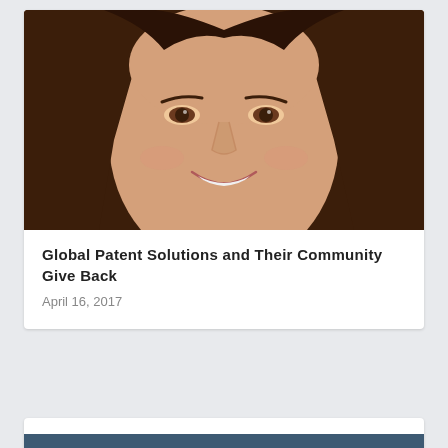[Figure (photo): Close-up photo of a smiling woman with long brown hair and brown eyes, face filling most of the frame]
Global Patent Solutions and Their Community Give Back
April 16, 2017